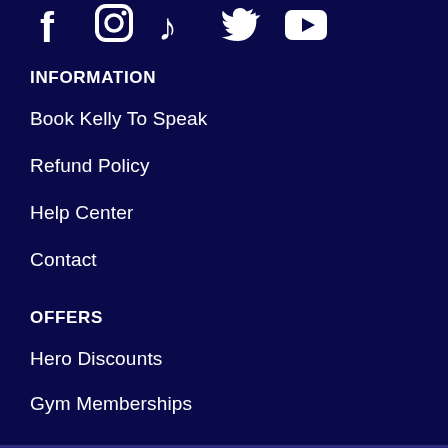[Figure (illustration): Social media icons: Facebook, Instagram, TikTok, Twitter, YouTube shown as white symbols on dark navy background]
INFORMATION
Book Kelly To Speak
Refund Policy
Help Center
Contact
OFFERS
Hero Discounts
Gym Memberships
Group Memberships